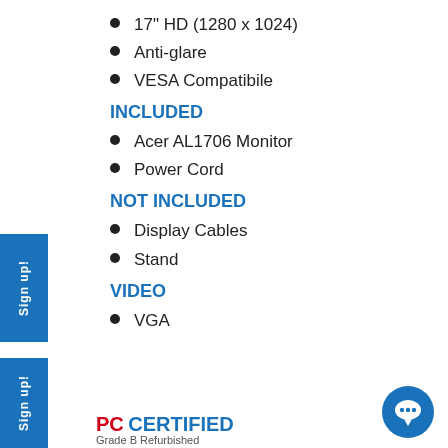17" HD (1280 x 1024)
Anti-glare
VESA Compatibile
INCLUDED
Acer AL1706 Monitor
Power Cord
NOT INCLUDED
Display Cables
Stand
VIDEO
VGA
PC CERTIFIED Grade B Refurbished